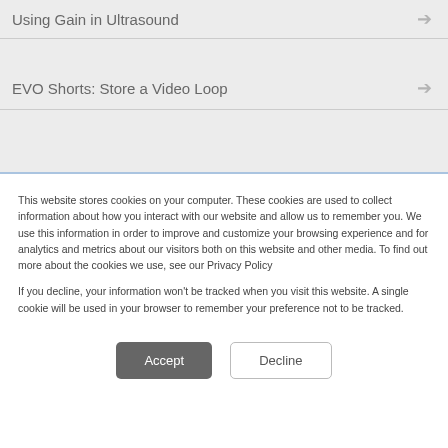Using Gain in Ultrasound
EVO Shorts: Store a Video Loop
This website stores cookies on your computer. These cookies are used to collect information about how you interact with our website and allow us to remember you. We use this information in order to improve and customize your browsing experience and for analytics and metrics about our visitors both on this website and other media. To find out more about the cookies we use, see our Privacy Policy

If you decline, your information won't be tracked when you visit this website. A single cookie will be used in your browser to remember your preference not to be tracked.